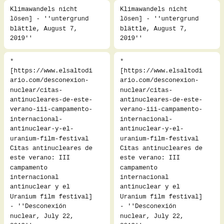Klimawandels nicht lösen] - ''untergrund blättle, August 7, 2019''
Klimawandels nicht lösen] - ''untergrund blättle, August 7, 2019''
* [https://www.elsaltodiario.com/desconexion-nuclear/citas-antinucleares-de-este-verano-iii-campamento-internacional-antinuclear-y-el-uranium-film-festival Citas antinucleares de este verano: III campamento internacional antinuclear y el Uranium film festival] - ''Desconexión nuclear, July 22, 2019''
* [https://www.elsaltodiario.com/desconexion-nuclear/citas-antinucleares-de-este-verano-iii-campamento-internacional-antinuclear-y-el-uranium-film-festival Citas antinucleares de este verano: III campamento internacional antinuclear y el Uranium film festival] - ''Desconexión nuclear, July 22, 2019''